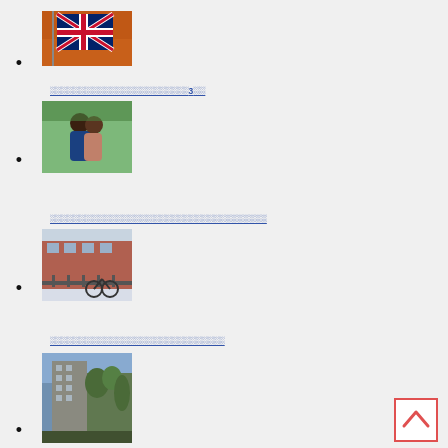• [UK flag photo]
• [link Thai text with 3] [couple photo]
• [link Thai text] [winter bike scene]
• [link Thai text] [building photo]
[Figure (other): Scroll-to-top button with upward chevron, red border]